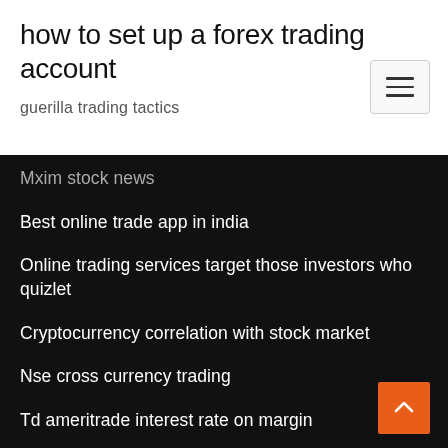how to set up a forex trading account
guerilla trading tactics
Mxim stock news
Best online trade app in india
Online trading services target those investors who quizlet
Cryptocurrency correlation with stock market
Nse cross currency trading
Td ameritrade interest rate on margin
Usd price in delhi
Gold and silver price today mcx
Anz etrade australia login